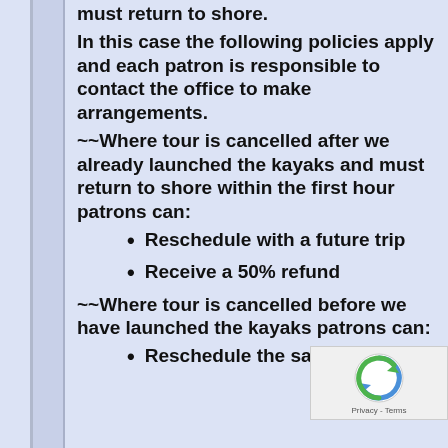must return to shore.
In this case the following policies apply and each patron is responsible to contact the office to make arrangements.
~~Where tour is cancelled after we already launched the kayaks and must return to shore within the first hour patrons can:
Reschedule with a future trip
Receive a 50% refund
~~Where tour is cancelled before we have launched the kayaks patrons can:
Reschedule the same trip